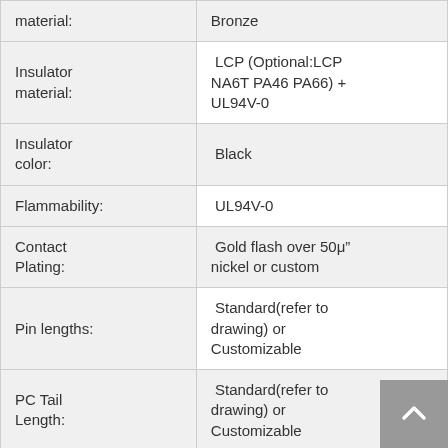| Property | Value |
| --- | --- |
| material: | Bronze |
| Insulator material: | LCP (Optional:LCP NA6T PA46 PA66) + UL94V-0 |
| Insulator color: | Black |
| Flammability: | UL94V-0 |
| Contact Plating: | Gold flash over 50μ" nickel or custom |
| Pin lengths: | Standard(refer to drawing) or Customizable |
| PC Tail Length: | Standard(refer to drawing) or Customizable |
| Packaging Type: | Bulk in Tube or Tape&Reel |